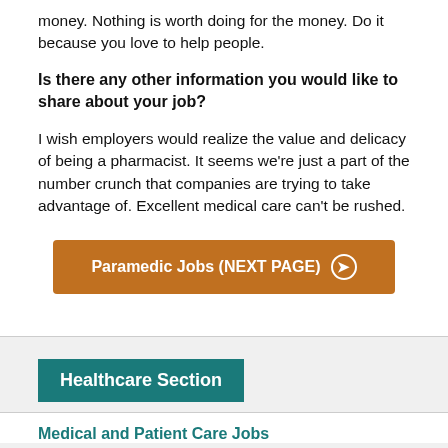money. Nothing is worth doing for the money. Do it because you love to help people.
Is there any other information you would like to share about your job?
I wish employers would realize the value and delicacy of being a pharmacist. It seems we're just a part of the number crunch that companies are trying to take advantage of. Excellent medical care can't be rushed.
Paramedic Jobs (NEXT PAGE) ➔
Healthcare Section
Medical and Patient Care Jobs